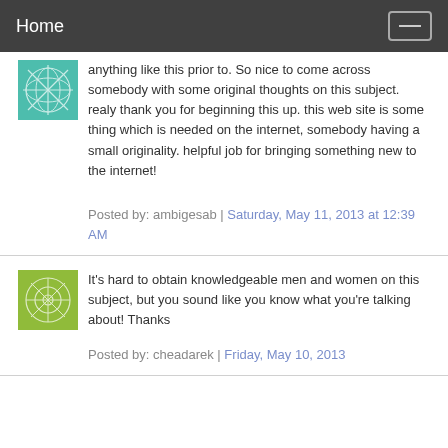Home
anything like this prior to. So nice to come across somebody with some original thoughts on this subject. realy thank you for beginning this up. this web site is some thing which is needed on the internet, somebody having a small originality. helpful job for bringing something new to the internet!
Posted by: ambigesab | Saturday, May 11, 2013 at 12:39 AM
It's hard to obtain knowledgeable men and women on this subject, but you sound like you know what you're talking about! Thanks
Posted by: cheadarek | Friday, May 10, 2013